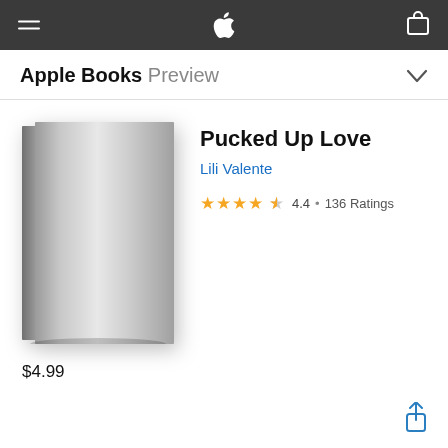Apple Books Preview
[Figure (illustration): Gray book cover with no title, showing a 3D book illustration with gradient shading from light gray to dark gray]
Pucked Up Love
Lili Valente
4.4 • 136 Ratings
$4.99